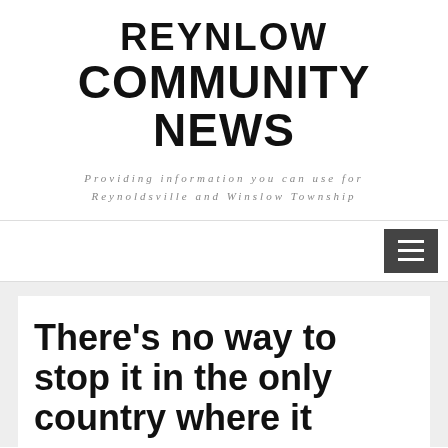REYNLOW COMMUNITY NEWS
Providing information you can use for Reynoldsville and Winslow Township
[Figure (other): Navigation bar with hamburger menu button (three horizontal lines icon) on dark grey background, positioned on the right side]
There’s no way to stop it in the only country where it